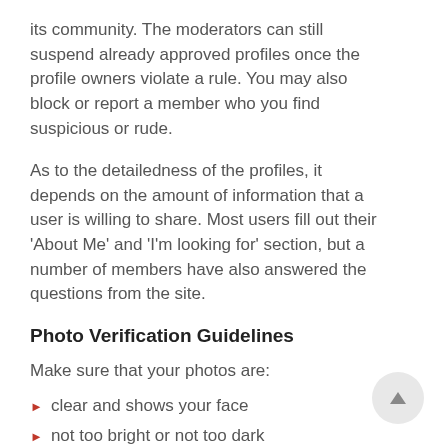its community. The moderators can still suspend already approved profiles once the profile owners violate a rule. You may also block or report a member who you find suspicious or rude.
As to the detailedness of the profiles, it depends on the amount of information that a user is willing to share. Most users fill out their 'About Me' and 'I'm looking for' section, but a number of members have also answered the questions from the site.
Photo Verification Guidelines
Make sure that your photos are:
clear and shows your face
not too bright or not too dark
sharp, not blurry
real-time
photos of you